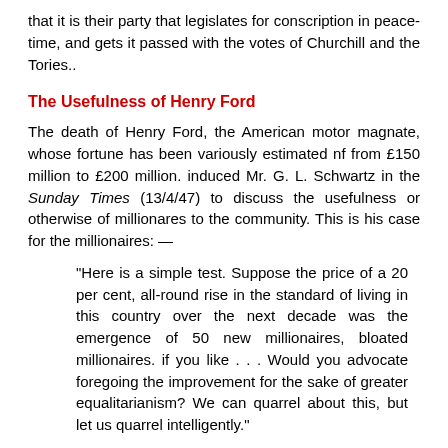that it is their party that legislates for conscription in peacetime, and gets it passed with the votes of Churchill and the Tories..
The Usefulness of Henry Ford
The death of Henry Ford, the American motor magnate, whose fortune has been variously estimated nf from £150 million to £200 million. induced Mr. G. L. Schwartz in the Sunday Times (13/4/47) to discuss the usefulness or otherwise of millionares to the community. This is his case for the millionaires: —
"Here is a simple test. Suppose the price of a 20 per cent, all-round rise in the standard of living in this country over the next decade was the emergence of 50 new millionaires, bloated millionaires. if you like . . . Would you advocate foregoing the improvement for the sake of greater equalitarianism? We can quarrel about this, but let us quarrel intelligently."